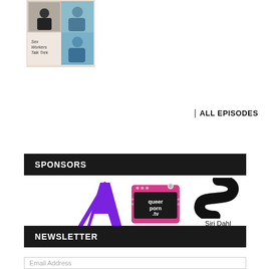[Figure (photo): Podcast cover art for 'Sex Workers Talk Trek' showing collage of people]
ALL EPISODES
SPONSORS
[Figure (logo): Purple stylized letter A logo]
[Figure (logo): queerporn.tv logo — pink retro TV graphic]
[Figure (logo): Siri Dahl logo — black S-curve shape with 'Siri Dahl' text]
NEWSLETTER
Email Address